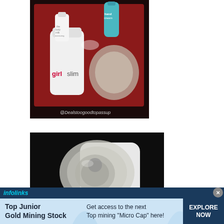[Figure (photo): Photo of a GirlSlim beauty/skincare product set in a red box, including a bottle labeled 'girlslim', a small travel bottle, a hand cream tube, and a blister-packed item. Watermark reads '@Dealstoogoodtopassup'.]
[Figure (photo): Close-up photo of a clear plastic blister pack containing what appears to be a small device or accessory, on a dark background.]
[Figure (screenshot): Infolinks advertisement banner. Top bar with 'infolinks' branding in blue. Ad reads: 'Top Junior Gold Mining Stock' / 'Get access to the next Top mining "Micro Cap" here!' with 'EXPLORE NOW' call to action button on the right.]